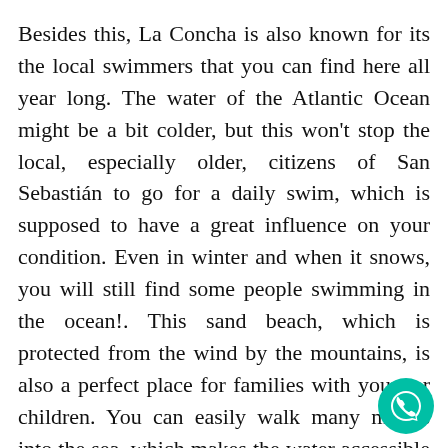Besides this, La Concha is also known for its the local swimmers that you can find here all year long. The water of the Atlantic Ocean might be a bit colder, but this won't stop the local, especially older, citizens of San Sebastián to go for a daily swim, which is supposed to have a great influence on your condition. Even in winter and when it snows, you will still find some people swimming in the ocean!. This sand beach, which is protected from the wind by the mountains, is also a perfect place for families with younger children. You can easily walk many meters into the sea, which makes the water accessible for people of all ages and there is a lot of space for playing in the water. Due to its protection, the water in the bay is also pretty quiet, which makes it extra safe for children.
[Figure (other): WhatsApp contact button — teal circle with white phone/chat icon]